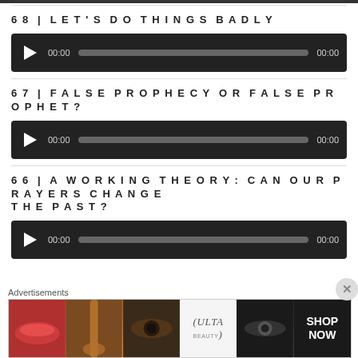68 | LET'S DO THINGS BADLY
[Figure (other): Audio player bar with play button, time 00:00, progress track, and end time 00:00]
67 | FALSE PROPHECY OR FALSE PROPHET?
[Figure (other): Audio player bar with play button, time 00:00, progress track, and end time 00:00]
66 | A WORKING THEORY: CAN OUR PRAYERS CHANGE THE PAST?
[Figure (other): Audio player bar with play button, time 00:00, progress track, and end time 00:00]
Advertisements
[Figure (other): Ulta Beauty advertisement banner with makeup/beauty product images and SHOP NOW call to action]